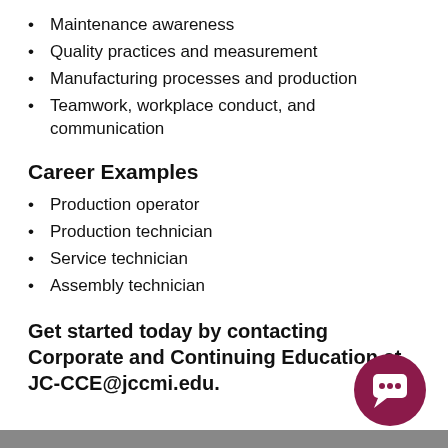Maintenance awareness
Quality practices and measurement
Manufacturing processes and production
Teamwork, workplace conduct, and communication
Career Examples
Production operator
Production technician
Service technician
Assembly technician
Get started today by contacting Corporate and Continuing Education at JC-CCE@jccmi.edu.
[Figure (illustration): Dark magenta/maroon circular chat icon with speech bubble symbol, positioned bottom right]